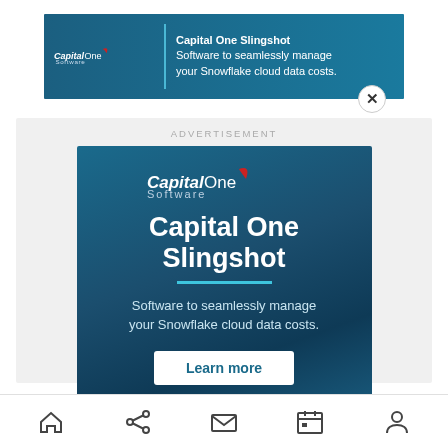[Figure (screenshot): Top banner advertisement for Capital One Slingshot software with logo, divider, and text: 'Capital One Slingshot - Software to seamlessly manage your Snowflake cloud data costs.' with a close button (X).]
[Figure (screenshot): Main advertisement block with 'ADVERTISEMENT' label. Dark blue gradient background with Capital One Software logo, large title 'Capital One Slingshot', teal underline, body text 'Software to seamlessly manage your Snowflake cloud data costs.', and white 'Learn more' button.]
Just going back to that initial point, when you're
[Figure (screenshot): Mobile browser bottom navigation bar with home, share, mail, calendar, and profile icons.]